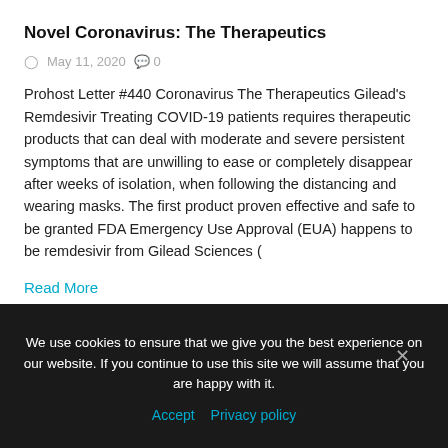Novel Coronavirus: The Therapeutics
May 11, 2020  0
Prohost Letter #440 Coronavirus The Therapeutics Gilead's Remdesivir Treating COVID-19 patients requires therapeutic products that can deal with moderate and severe persistent symptoms that are unwilling to ease or completely disappear after weeks of isolation, when following the distancing and wearing masks. The first product proven effective and safe to be granted FDA Emergency Use Approval (EUA) happens to be remdesivir from Gilead Sciences (
Read More
We use cookies to ensure that we give you the best experience on our website. If you continue to use this site we will assume that you are happy with it.
Accept  Privacy policy